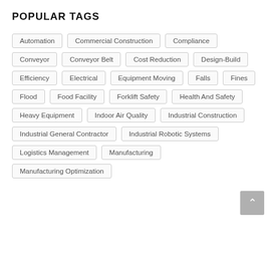POPULAR TAGS
Automation
Commercial Construction
Compliance
Conveyor
Conveyor Belt
Cost Reduction
Design-Build
Efficiency
Electrical
Equipment Moving
Falls
Fines
Flood
Food Facility
Forklift Safety
Health And Safety
Heavy Equipment
Indoor Air Quality
Industrial Construction
Industrial General Contractor
Industrial Robotic Systems
Logistics Management
Manufacturing
Manufacturing Optimization